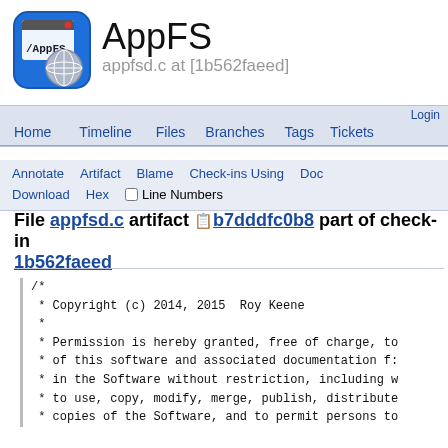[Figure (logo): AppFS application icon: blue rounded square with terminal/filesystem UI and globe overlay]
AppFS
appfsd.c at [1b562faeed]
Home  Timeline  Files  Branches  Tags  Login  Tickets
Annotate  Artifact  Blame  Check-ins Using  Doc  Download  Hex  Line Numbers
File appfsd.c artifact b7dddfc0b8 part of check-in 1b562faeed
/*
 * Copyright (c) 2014, 2015  Roy Keene
 *
 * Permission is hereby granted, free of charge, to
 * of this software and associated documentation f:
 * in the Software without restriction, including w
 * to use, copy, modify, merge, publish, distribute
 * copies of the Software, and to permit persons to